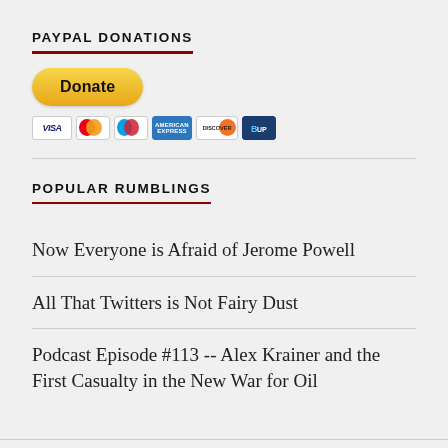PAYPAL DONATIONS
[Figure (other): PayPal Donate button with credit card icons (Visa, Mastercard, Maestro, American Express, Discover, and one more)]
POPULAR RUMBLINGS
Now Everyone is Afraid of Jerome Powell
All That Twitters is Not Fairy Dust
Podcast Episode #113 -- Alex Krainer and the First Casualty in the New War for Oil